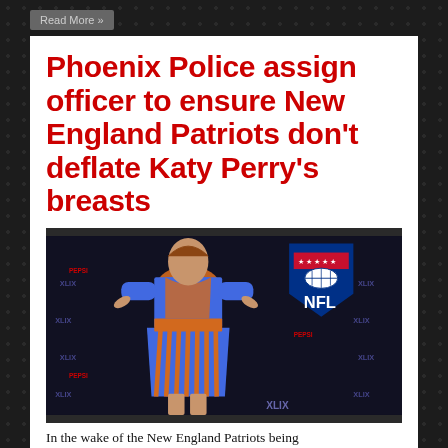Read More »
Phoenix Police assign officer to ensure New England Patriots don't deflate Katy Perry's breasts
[Figure (photo): Person wearing a blue and orange patterned dress standing in front of Super Bowl XLIX backdrop with NFL logo visible]
In the wake of the New England Patriots being